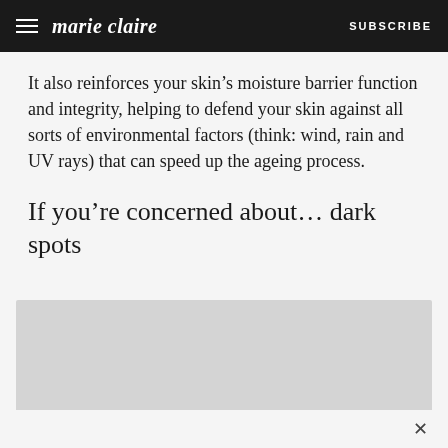marie claire | SUBSCRIBE
It also reinforces your skin’s moisture barrier function and integrity, helping to defend your skin against all sorts of environmental factors (think: wind, rain and UV rays) that can speed up the ageing process.
If you’re concerned about… dark spots
[Figure (other): Gray placeholder image block below the dark spots section header]
×